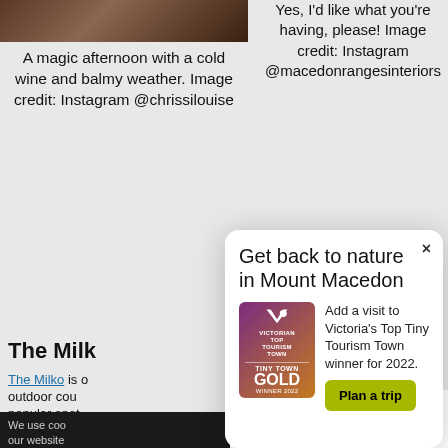[Figure (photo): Dark photo strip at top showing food/wine scene]
A magic afternoon with a cold wine and balmy weather. Image credit: Instagram @chrissilouise
Yes, I'd like what you're having, please! Image credit: Instagram @macedonrangesinteriors
The Milk
The Milko is outdoor cou popular spot Woodend Co
We use coo our website
[Figure (screenshot): Modal popup: Get back to nature in Mount Macedon. Contains Victorian Top Tourism Town Tiny Town Gold Winner 2022 badge, text about Victoria's Top Tiny Tourism Town winner for 2022, and Plan a trip button.]